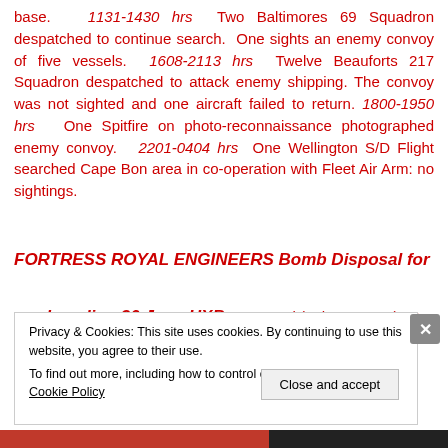base. 1131-1430 hrs Two Baltimores 69 Squadron despatched to continue search. One sights an enemy convoy of five vessels. 1608-2113 hrs Twelve Beauforts 217 Squadron despatched to attack enemy shipping. The convoy was not sighted and one aircraft failed to return. 1800-1950 hrs One Spitfire on photo-reconnaissance photographed enemy convoy. 2201-0404 hrs One Wellington S/D Flight searched Cape Bon area in co-operation with Fleet Air Arm: no sightings.
FORTRESS ROYAL ENGINEERS Bomb Disposal for week ending 30 June UXB. Reported (50hrs or over) 32:
Privacy & Cookies: This site uses cookies. By continuing to use this website, you agree to their use. To find out more, including how to control cookies, see here: Cookie Policy